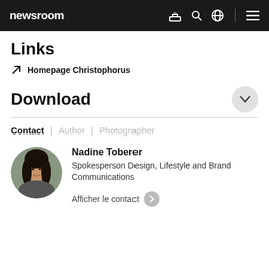newsroom
Links
Homepage Christophorus
Download
Contact | Author | Photographer
Nadine Toberer
Spokesperson Design, Lifestyle and Brand Communications
Afficher le contact
[Figure (photo): Circular portrait photo of Nadine Toberer, a woman with dark hair, smiling]